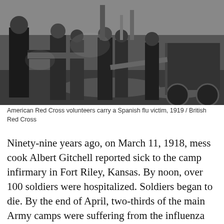[Figure (photo): Black and white historical photograph of American Red Cross volunteers carrying a Spanish flu victim, 1919. Several people in dark coats are visible, with a cart or vehicle in the background on a dirt road.]
American Red Cross volunteers carry a Spanish flu victim, 1919 / British Red Cross
Ninety-nine years ago, on March 11, 1918, mess cook Albert Gitchell reported sick to the camp infirmary in Fort Riley, Kansas. By noon, over 100 soldiers were hospitalized. Soldiers began to die. By the end of April, two-thirds of the main Army camps were suffering from the influenza epidemic. The Spanish flu had begun its spread in the United States. The virus eventually infected an estimated 500 million people worldwide, killing somewhere between 20 and 50 million—more people than were killed in World War I. Over half of the victims were young adults. In the